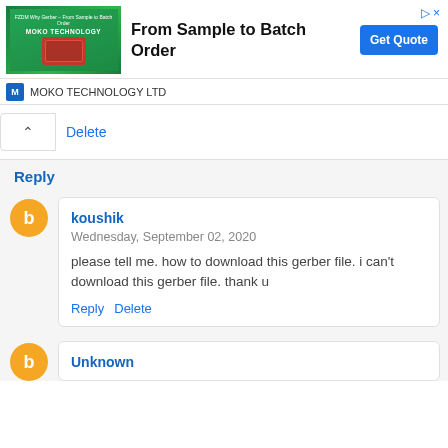[Figure (screenshot): Advertisement banner for MOKO TECHNOLOGY LTD showing a PCB board image and text 'From Sample to Batch Order' with a 'Get Quote' button]
Delete
Reply
koushik
Wednesday, September 02, 2020
please tell me. how to download this gerber file. i can't download this gerber file. thank u
Reply  Delete
Unknown